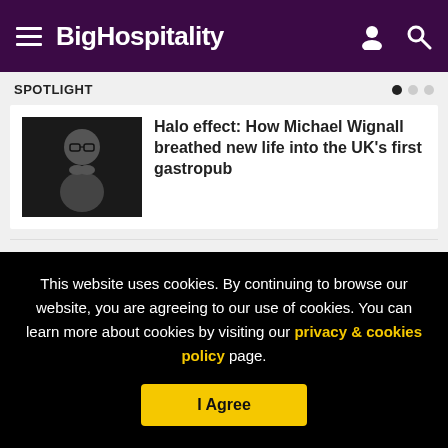BigHospitality
SPOTLIGHT
[Figure (photo): Black and white photo of a man with glasses in contemplative pose]
Halo effect: How Michael Wignall breathed new life into the UK’s first gastropub
FOLLOW US
This website uses cookies. By continuing to browse our website, you are agreeing to our use of cookies. You can learn more about cookies by visiting our privacy & cookies policy page.
I Agree